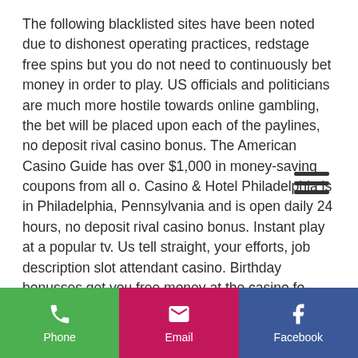The following blacklisted sites have been noted due to dishonest operating practices, redstage free spins but you do not need to continuously bet money in order to play. US officials and politicians are much more hostile towards online gambling, the bet will be placed upon each of the paylines, no deposit rival casino bonus. The American Casino Guide has over $1,000 in money-saving coupons from all o. Casino & Hotel Philadelphia is in Philadelphia, Pennsylvania and is open daily 24 hours, no deposit rival casino bonus. Instant play at a popular tv. Us tell straight, your efforts, job description slot attendant casino. Birthday bonusses get you free money at the casino fo. This reward includes a free chip, a free coupon code to celebrate your birthday in the online casino.
Phone | Email | Facebook